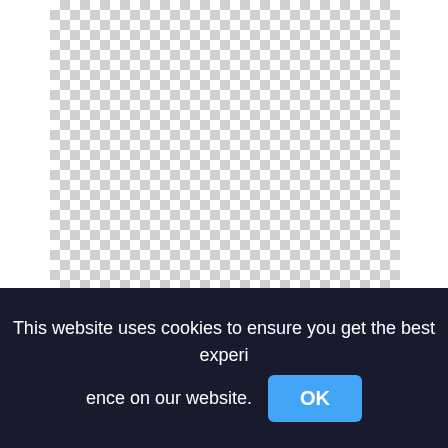[Figure (other): Transparent/checkerboard background area representing a PNG image placeholder for 'At The Movies, Mary Poppins Bert Clipart png']
At The Movies, Mary Poppins Bert Clipart png
This website uses cookies to ensure you get the best experience on our website. OK